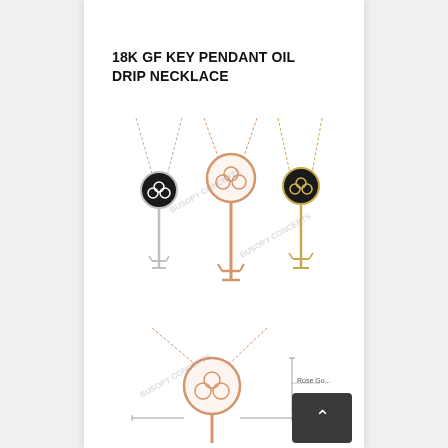18K GF KEY PENDANT OIL DRIP NECKLACE
[Figure (photo): Product photo showing three key pendant necklaces side by side: silver with black enamel clover, rose gold with white enamel clover, and gold with black enamel clover. Each has a chain and a round top with floral design.]
[Figure (photo): Close-up product photo of a rose gold key pendant necklace with measurement diagram showing pendant dimensions, labeled 'Rose Gold'.]